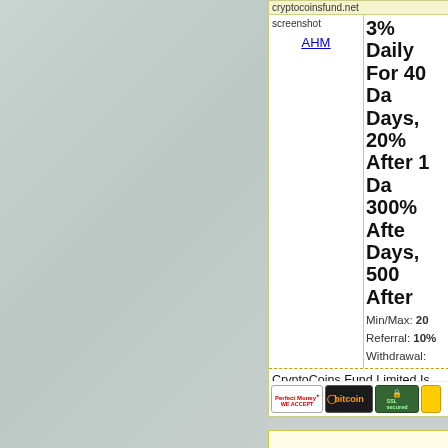[Figure (screenshot): Left panel: light gray/blue textured background panel taking up left ~60% of the page]
cryptocoinsfund.net screenshot
AHM
3% Daily For 40 Da Days, 20% After 1 Da 300% Afte Days, 500 After
Min/Max: 20
Referral: 10%
Withdrawal:
CryptoCoins Fund Limited Is the Currencies Exchange Mining and powerful computing system is op common decentralized crypto cu dedicated to mining for Bitcoin, E providing other high quality worl investments, and take a small pa exchange fees, escrow service fe is sit back and watch your earnin our investors and strive to do ou as possible
[Figure (logo): Perfect Money WE ACCEPT badge]
[Figure (logo): Bitcoin logo badge]
[Figure (logo): SSL secured badge]
[Figure (logo): Additional yellow badge]